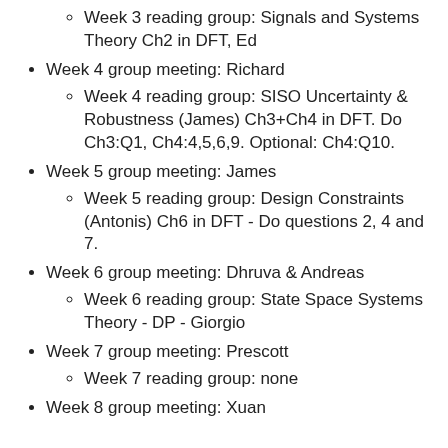Week 3 reading group: Signals and Systems Theory Ch2 in DFT, Ed
Week 4 group meeting: Richard
Week 4 reading group: SISO Uncertainty & Robustness (James) Ch3+Ch4 in DFT. Do Ch3:Q1, Ch4:4,5,6,9. Optional: Ch4:Q10.
Week 5 group meeting: James
Week 5 reading group: Design Constraints (Antonis) Ch6 in DFT - Do questions 2, 4 and 7.
Week 6 group meeting: Dhruva & Andreas
Week 6 reading group: State Space Systems Theory - DP - Giorgio
Week 7 group meeting: Prescott
Week 7 reading group: none
Week 8 group meeting: Xuan